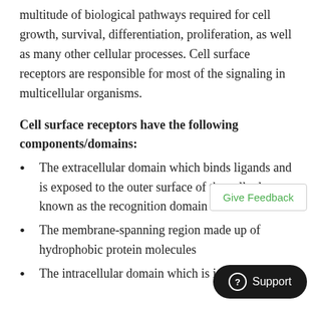multitude of biological pathways required for cell growth, survival, differentiation, proliferation, as well as many other cellular processes. Cell surface receptors are responsible for most of the signaling in multicellular organisms.
Cell surface receptors have the following components/domains:
The extracellular domain which binds ligands and is exposed to the outer surface of the cell; also known as the recognition domain
The membrane-spanning region made up of hydrophobic protein molecules
The intracellular domain which is i…